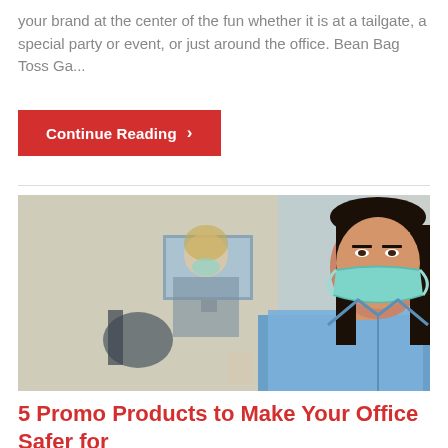your brand at the center of the fun whether it is at a tailgate, a special party or event, or just around the office. Bean Bag Toss Ga...
Continue Reading ›
[Figure (photo): Two women wearing face masks in an office environment. One woman with dark hair wearing a blue denim shirt is in the foreground; another woman with light hair is blurred in the background near a computer monitor.]
5 Promo Products to Make Your Office Safer for